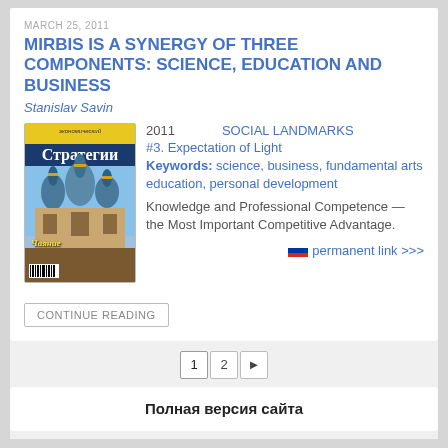MARCH 25, 2011
MIRBIS IS A SYNERGY OF THREE COMPONENTS: SCIENCE, EDUCATION AND BUSINESS
Stanislav Savin
[Figure (photo): Magazine cover: Стратегии (Strategies), Russian economics journal, featuring Russian Orthodox church domes, yellow top bar, Cyrillic text]
2011   SOCIAL LANDMARKS
#3. Expectation of Light
Keywords: science, business, fundamental arts education, personal development
Knowledge and Professional Competence — the Most Important Competitive Advantage.
permanent link >>>
CONTINUE READING
1  2  ▶
Полная версия сайта